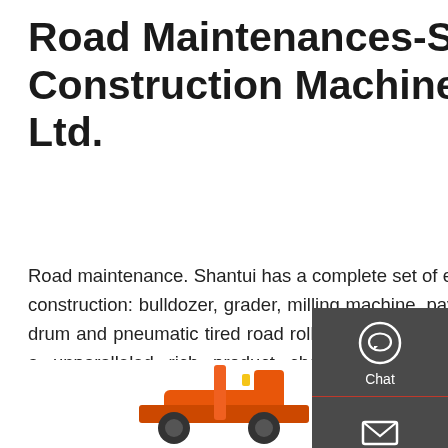Road Maintenances-Shantui Construction Machinery Co., Ltd.
Road maintenance. Shantui has a complete set of equipment for road construction: bulldozer, grader, milling machine, paver, single/double-drum and pneumatic tired road roller and cold-recycling mixing plant, a unparalleled rich product chain. With intelligent construction technologies, we have developed unmanned bulldozer, unmanned single
[Figure (screenshot): Sidebar contact panel with Chat, Email, and Contact icons on dark grey background]
[Figure (photo): Partial view of orange construction machinery at the bottom of the page]